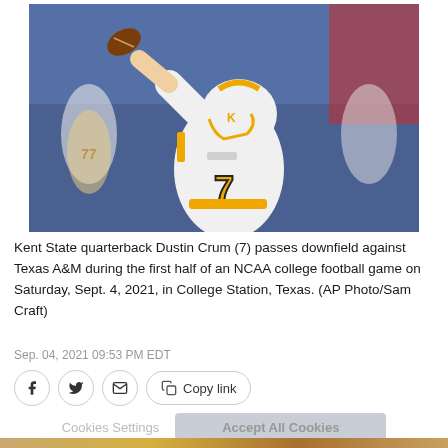[Figure (photo): Kent State quarterback Dustin Crum wearing number 7, in white uniform with gold accents, throwing a pass downfield. Other players and a crowd are visible in the background.]
Kent State quarterback Dustin Crum (7) passes downfield against Texas A&M during the first half of an NCAA college football game on Saturday, Sept. 4, 2021, in College Station, Texas. (AP Photo/Sam Craft)
Sep. 04, 2021 09:53 PM EDT